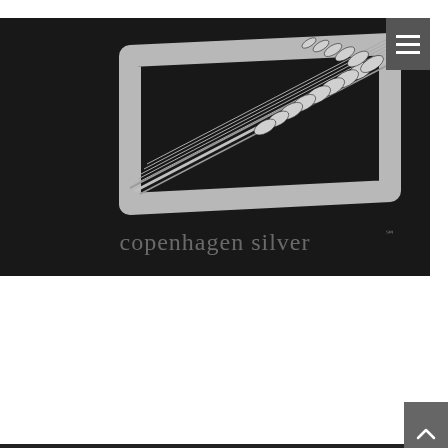[Figure (photo): Product photo of a Georg Jensen Sterling Silver Money Clip on dark background with 'copenhagen silver' watermark text. The money clip features a wheat/grain design engraved on a sleek silver finish.]
Georg Jensen Sterling Silver Money Clip # 334
$ 239,00
Add to cart